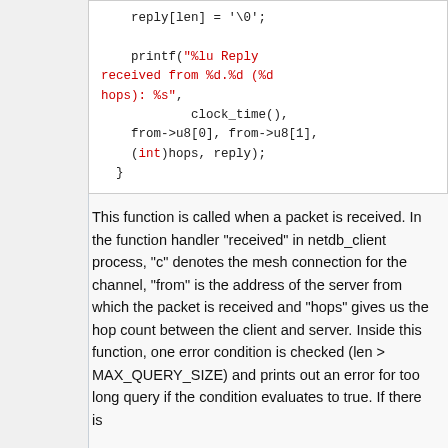[Figure (other): Code snippet showing C code with printf statement, reply buffer null-termination, clock_time(), from->u8 address fields, hops and reply variables]
This function is called when a packet is received. In the function handler "received" in netdb_client process, "c" denotes the mesh connection for the channel, "from" is the address of the server from which the packet is received and "hops" gives us the hop count between the client and server. Inside this function, one error condition is checked (len > MAX_QUERY_SIZE) and prints out an error for too long query if the condition evaluates to true. If there is